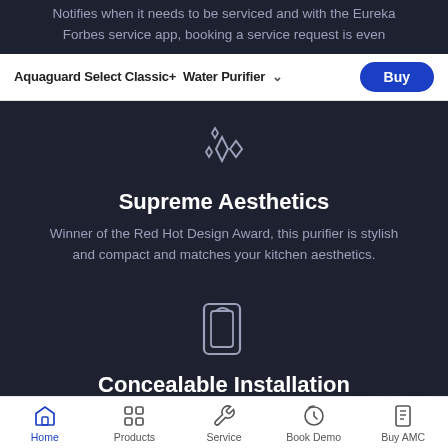Notifies when it needs to be serviced and with the Eureka Forbes service app, booking a service request is even
Aquaguard Select Classic+ Water Purifier  Buy
[Figure (illustration): Sparkle/star decorative icon in outline style on dark background]
Supreme Aesthetics
Winner of the Red Hot Design Award, this purifier is stylish and compact and matches your kitchen aesthetics.
[Figure (illustration): Cabinet/concealable installation icon in outline style on dark background]
Concealable Installation
Install it on the cabinet door, flush with the walls or mount it on the wall to suit
Home  Products  Service  Book Demo  Buy AMC